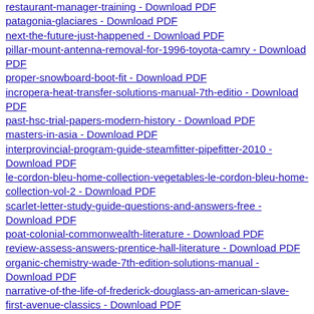restaurant-manager-training - Download PDF
patagonia-glaciares - Download PDF
next-the-future-just-happened - Download PDF
pillar-mount-antenna-removal-for-1996-toyota-camry - Download PDF
proper-snowboard-boot-fit - Download PDF
incropera-heat-transfer-solutions-manual-7th-editio - Download PDF
past-hsc-trial-papers-modern-history - Download PDF
masters-in-asia - Download PDF
interprovincial-program-guide-steamfitter-pipefitter-2010 - Download PDF
le-cordon-bleu-home-collection-vegetables-le-cordon-bleu-home-collection-vol-2 - Download PDF
scarlet-letter-study-guide-questions-and-answers-free - Download PDF
poat-colonial-commonwealth-literature - Download PDF
review-assess-answers-prentice-hall-literature - Download PDF
organic-chemistry-wade-7th-edition-solutions-manual - Download PDF
narrative-of-the-life-of-frederick-douglass-an-american-slave-first-avenue-classics - Download PDF
kitchen-math-measuring-worksheet-answers - Download PDF
schematic-diagrams-fire-alarm-plan-symbols - Download PDF
perry-s-chemical-engineers-handbook-8th-edition - Download PDF